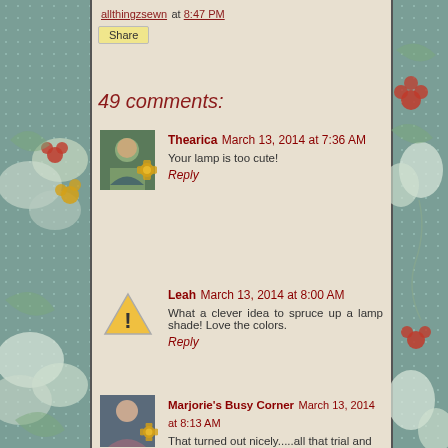allthingzsewn at 8:47 PM
Share
49 comments:
Thearica March 13, 2014 at 7:36 AM
Your lamp is too cute!
Reply
Leah March 13, 2014 at 8:00 AM
What a clever idea to spruce up a lamp shade! Love the colors.
Reply
Marjorie's Busy Corner March 13, 2014 at 8:13 AM
That turned out nicely.....all that trial and error paid off.